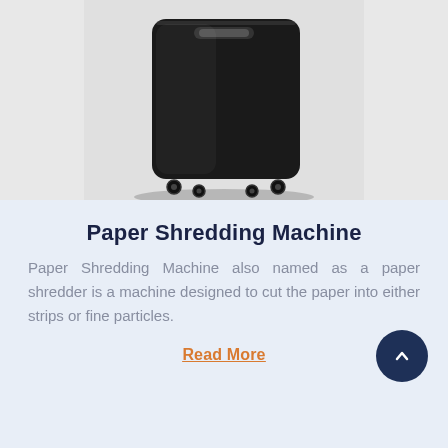[Figure (photo): A black paper shredding machine on wheels, viewed slightly from above, with a handle slot visible on top.]
Paper Shredding Machine
Paper Shredding Machine also named as a paper shredder is a machine designed to cut the paper into either strips or fine particles.
Read More